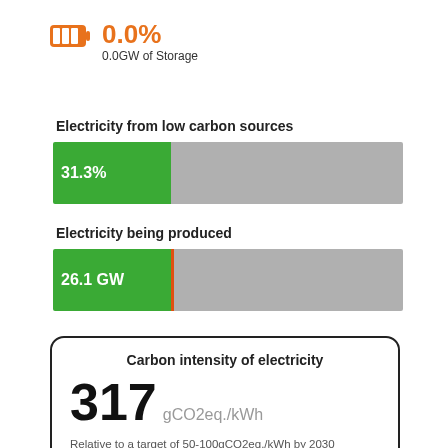[Figure (infographic): Orange battery icon (full/three bars) indicating 0.0% storage]
0.0%
0.0GW of Storage
Electricity from low carbon sources
[Figure (bar-chart): Electricity from low carbon sources]
Electricity being produced
[Figure (bar-chart): Electricity being produced]
Carbon intensity of electricity
317 gCO2eq./kWh
Relative to a target of 50-100gCO2eq./kWh by 2030